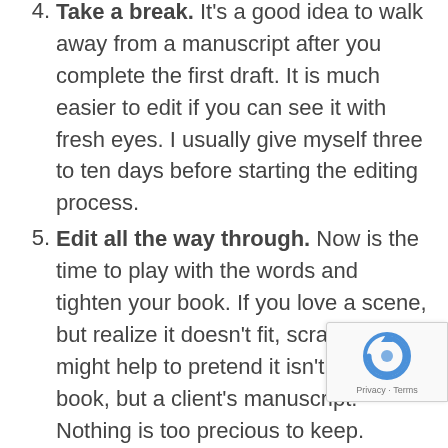4. Take a break. It's a good idea to walk away from a manuscript after you complete the first draft. It is much easier to edit if you can see it with fresh eyes. I usually give myself three to ten days before starting the editing process.
5. Edit all the way through. Now is the time to play with the words and tighten your book. If you love a scene, but realize it doesn't fit, scrap it. It might help to pretend it isn't your book, but a client's manuscript. Nothing is too precious to keep.
6. Hire an editor or show the book to fellow writers. Now is a good time to get other feedback. What are you missing that someone